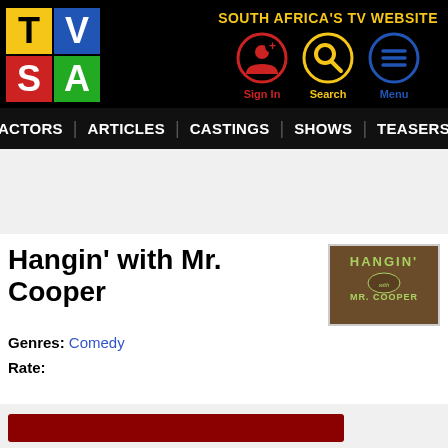[Figure (logo): TVSA logo with four colored quadrants: yellow T, blue V, red S, green A]
SOUTH AFRICA'S TV WEBSITE
[Figure (illustration): Sign In icon - red circle with user silhouette and plus sign]
[Figure (illustration): Search icon - yellow circle with magnifying glass]
[Figure (illustration): Menu icon - blue circle with three horizontal lines]
ACTORS | ARTICLES | CASTINGS | SHOWS | TEASERS
Hangin' with Mr. Cooper
[Figure (photo): Thumbnail image showing show title 'HANGIN' MR. COOPER' on a brown background with green text]
Genres: Comedy
Rate: